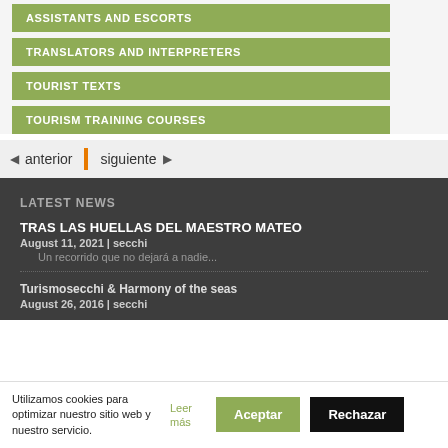ASSISTANTS AND ESCORTS
TRANSLATORS AND INTERPRETERS
TOURIST TEXTS
TOURISM TRAINING COURSES
◄ anterior | siguiente ►
LATEST NEWS
TRAS LAS HUELLAS DEL MAESTRO MATEO
August 11, 2021 | secchi
Un recorrido que no dejará a nadie...
Turismosecchi & Harmony of the seas
August 26, 2016 | secchi
Utilizamos cookies para optimizar nuestro sitio web y nuestro servicio.
Leer más
Aceptar
Rechazar